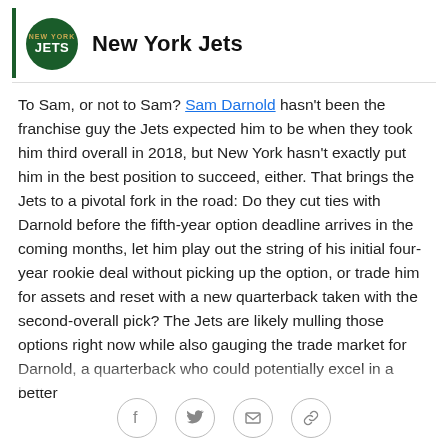New York Jets
To Sam, or not to Sam? Sam Darnold hasn't been the franchise guy the Jets expected him to be when they took him third overall in 2018, but New York hasn't exactly put him in the best position to succeed, either. That brings the Jets to a pivotal fork in the road: Do they cut ties with Darnold before the fifth-year option deadline arrives in the coming months, let him play out the string of his initial four-year rookie deal without picking up the option, or trade him for assets and reset with a new quarterback taken with the second-overall pick? The Jets are likely mulling those options right now while also gauging the trade market for Darnold, a quarterback who could potentially excel in a better...